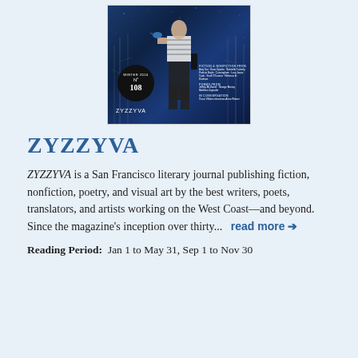[Figure (illustration): Cover of ZYZZYVA literary journal, issue No. 108, Winter 2016. Dark blue background with a black-and-white image of a person in a striped top and dark pants against decorative tree line art. A black circular badge shows 'Winter 2016 No 108'. Text blocks list fiction & nonfiction from contributing writers.]
ZYZZYVA
ZYZZYVA is a San Francisco literary journal publishing fiction, nonfiction, poetry, and visual art by the best writers, poets, translators, and artists working on the West Coast—and beyond. Since the magazine's inception over thirty...   read more →
Reading Period:  Jan 1 to May 31, Sep 1 to Nov 30